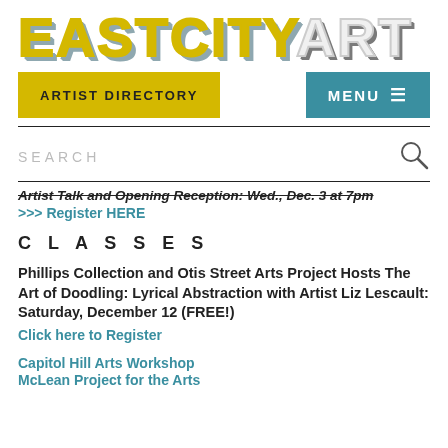[Figure (logo): EastCityArt logo in large bold blocky letters. EASTCITY in yellow/gold with teal shadow, ART in light gray/white with dark shadow.]
ARTIST DIRECTORY
MENU ≡
SEARCH
Artist Talk and Opening Reception: Wed., Dec. 3 at 7pm
>>> Register HERE
C L A S S E S
Phillips Collection and Otis Street Arts Project Hosts The Art of Doodling: Lyrical Abstraction with Artist Liz Lescault: Saturday, December 12 (FREE!)
Click here to Register
Capitol Hill Arts Workshop
McLean Project for the Arts